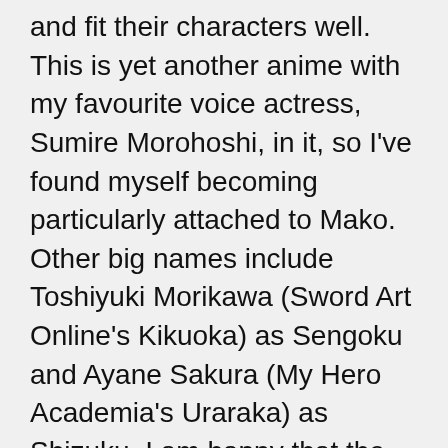and fit their characters well. This is yet another anime with my favourite voice actress, Sumire Morohoshi, in it, so I've found myself becoming particularly attached to Mako. Other big names include Toshiyuki Morikawa (Sword Art Online's Kikuoka) as Sengoku and Ayane Sakura (My Hero Academia's Uraraka) as Shizuku. I am happy that the subtitles are fine and readable, after taking issue with the subtitles on many of the authors by Anime Limited's French division for being extremely hard to read. I will note however that there does seem to be an audio glitch at the end of most episodes where it sounds like it starts to play the ending theme again but suddenly